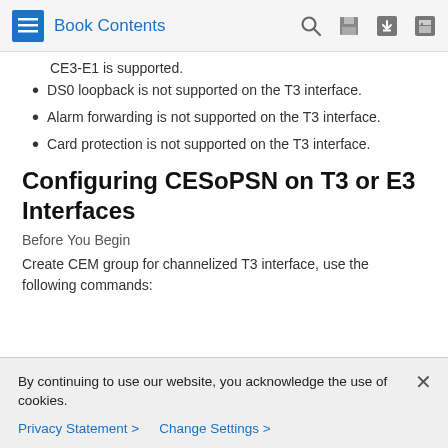Book Contents
CE3-E1 is supported.
DS0 loopback is not supported on the T3 interface.
Alarm forwarding is not supported on the T3 interface.
Card protection is not supported on the T3 interface.
Configuring CESoPSN on T3 or E3 Interfaces
Before You Begin
Create CEM group for channelized T3 interface, use the following commands:
By continuing to use our website, you acknowledge the use of cookies.
Privacy Statement > Change Settings >